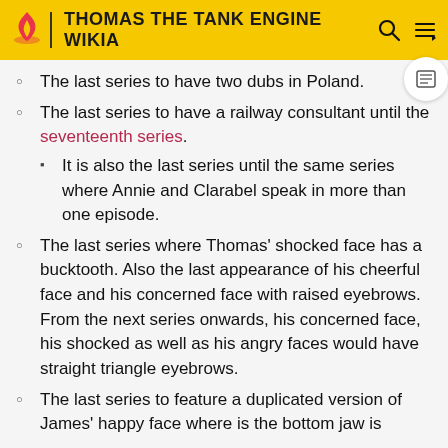THOMAS THE TANK ENGINE WIKIA
The last series to have two dubs in Poland.
The last series to have a railway consultant until the seventeenth series.
  - It is also the last series until the same series where Annie and Clarabel speak in more than one episode.
The last series where Thomas' shocked face has a bucktooth. Also the last appearance of his cheerful face and his concerned face with raised eyebrows. From the next series onwards, his concerned face, his shocked as well as his angry faces would have straight triangle eyebrows.
The last series to feature a duplicated version of James' happy face where is the bottom jaw is